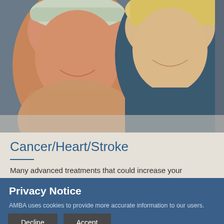[Figure (photo): Two smiling women — one older Asian woman wearing a floral headband, one older blonde woman — looking at something together, suggesting a patient and caregiver or friends.]
Cancer/Heart/Stroke
Many advanced treatments that could increase your
Privacy Notice
AMBA uses cookies to provide more accurate information to our users. You may choose to opt-out of these cookies if you wish.
Decline    Accept